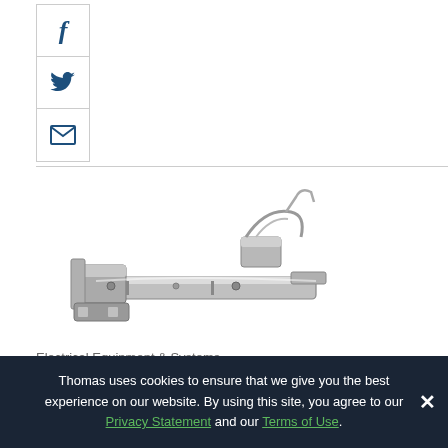[Figure (other): Social media sharing buttons: Facebook (f), Twitter (bird icon), Email (envelope icon) arranged vertically in a bordered box]
[Figure (photo): A metallic ski binding mechanism — silver/chrome colored mechanical hardware with clamps, levers, and bolts, shown diagonally against a white background]
Electrical Equipment & Systems
Plastic Plain Bearings for Ski Bindings
Thomas uses cookies to ensure that we give you the best experience on our website. By using this site, you agree to our Privacy Statement and our Terms of Use.